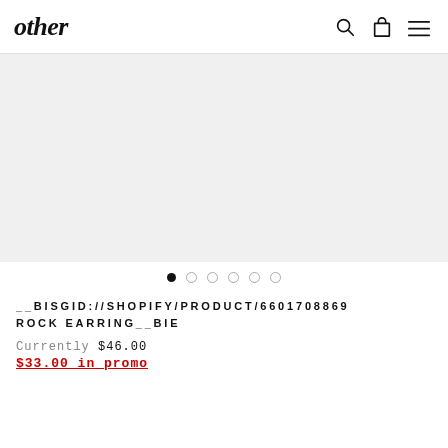other
[Figure (photo): Product image area — light gray background, empty product carousel]
● ○ ○ ○ ○ ○ (carousel dots, first dot active)
__BISGID://SHOPIFY/PRODUCT/6601708869 ROCK EARRING__BIE
Currently $46.00
$33.00 in promo